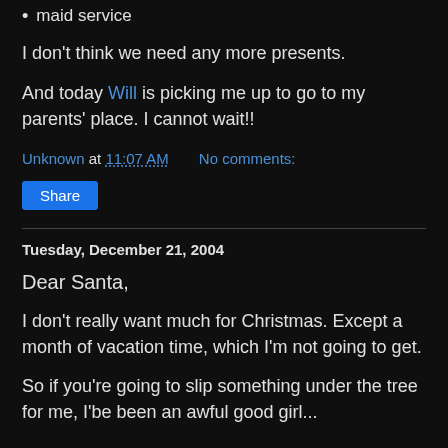maid service
I don't think we need any more presents.
And today Will is picking me up to go to my parents' place. I cannot wait!!
Unknown at 11:07 AM   No comments:
Share
Tuesday, December 21, 2004
Dear Santa,
I don't really want much for Christmas. Except a month of vacation time, which I'm not going to get.
So if you're going to slip something under the tree for me, I'be been an awful good girl...